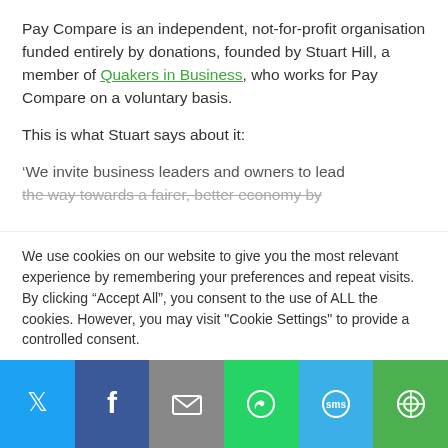Pay Compare is an independent, not-for-profit organisation funded entirely by donations, founded by Stuart Hill, a member of Quakers in Business, who works for Pay Compare on a voluntary basis.
This is what Stuart says about it:
‘We invite business leaders and owners to lead the way towards a fairer, better economy by
We use cookies on our website to give you the most relevant experience by remembering your preferences and repeat visits. By clicking “Accept All”, you consent to the use of ALL the cookies. However, you may visit "Cookie Settings" to provide a controlled consent.
[Figure (infographic): Social share bar with icons for Twitter, Facebook, Email, WhatsApp, SMS, and More]